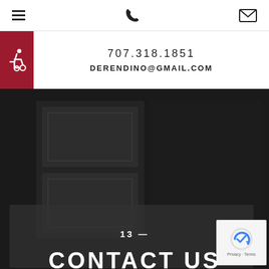[Navigation bar with hamburger menu, phone icon, and email icon]
707.318.1851
DERENDINO@GMAIL.COM
[Figure (photo): Dark grayscale photo showing a person playing a brass instrument (trumpet) against a decorated background. Dark overlay box at bottom. reCAPTCHA privacy badge visible in bottom-right corner.]
13 —
CONTACT US